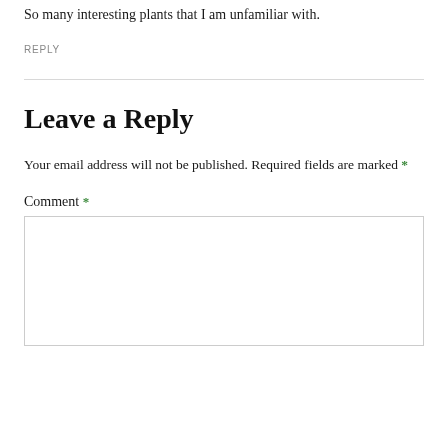So many interesting plants that I am unfamiliar with.
REPLY
Leave a Reply
Your email address will not be published. Required fields are marked *
Comment *